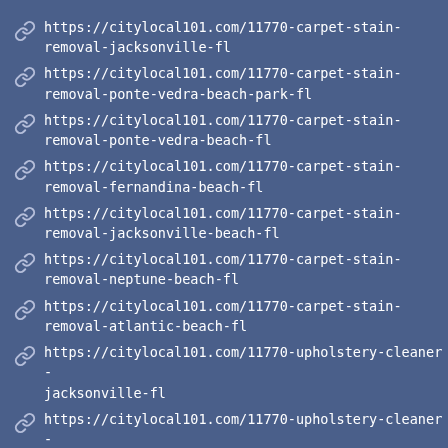https://citylocal101.com/11770-carpet-stain-removal-jacksonville-fl
https://citylocal101.com/11770-carpet-stain-removal-ponte-vedra-beach-park-fl
https://citylocal101.com/11770-carpet-stain-removal-ponte-vedra-beach-fl
https://citylocal101.com/11770-carpet-stain-removal-fernandina-beach-fl
https://citylocal101.com/11770-carpet-stain-removal-jacksonville-beach-fl
https://citylocal101.com/11770-carpet-stain-removal-neptune-beach-fl
https://citylocal101.com/11770-carpet-stain-removal-atlantic-beach-fl
https://citylocal101.com/11770-upholstery-cleaner-jacksonville-fl
https://citylocal101.com/11770-upholstery-cleaner-ponte-vedra-beach-park-fl